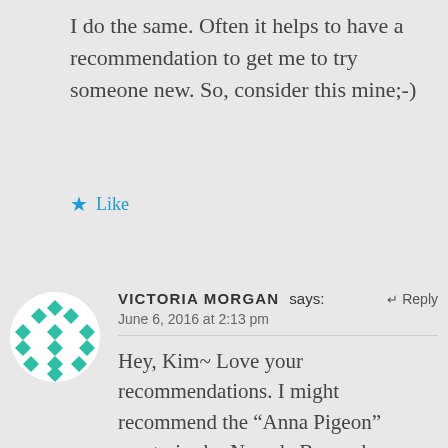I do the same. Often it helps to have a recommendation to get me to try someone new. So, consider this mine;-)
★ Like
VICTORIA MORGAN says: ↵ Reply
June 6, 2016 at 2:13 pm
Hey, Kim~ Love your recommendations. I might recommend the “Anna Pigeon” mysteries by Nevada Barr, who presently lives in New Orleans, LA. Anna is a Forest Ranger and each mystery is located